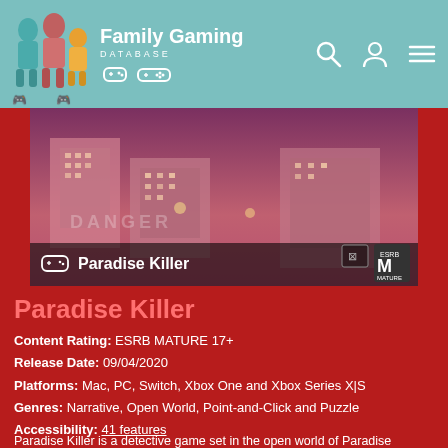Family Gaming DATABASE
[Figure (screenshot): Paradise Killer game screenshot showing aerial view of a city at night with pink/purple lighting. Game controller icon and 'Paradise Killer' title overlay at bottom. ESRB M (Mature) rating badge visible.]
Paradise Killer
Content Rating: ESRB MATURE 17+
Release Date: 09/04/2020
Platforms: Mac, PC, Switch, Xbox One and Xbox Series X|S
Genres: Narrative, Open World, Point-and-Click and Puzzle
Accessibility: 41 features
Developer: Kaizen Game Works (@KaizenGameWorks)
Players: This is a single-player game
Paradise Killer is a detective game set in the open world of Paradise